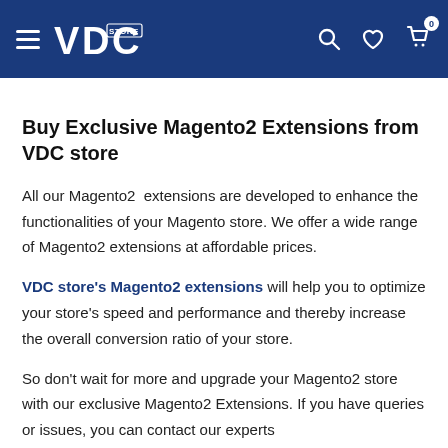VDC STORE — navigation header with hamburger menu, logo, search, wishlist, and cart icons
Buy Exclusive Magento2 Extensions from VDC store
All our Magento2  extensions are developed to enhance the functionalities of your Magento store. We offer a wide range of Magento2 extensions at affordable prices.
VDC store's Magento2 extensions will help you to optimize your store's speed and performance and thereby increase the overall conversion ratio of your store.
So don't wait for more and upgrade your Magento2 store with our exclusive Magento2 Extensions. If you have queries or issues, you can contact our experts